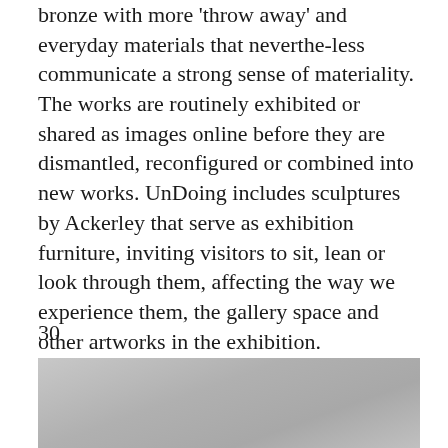bronze with more 'throw away' and everyday materials that neverthe-less communicate a strong sense of materiality. The works are routinely exhibited or shared as images online before they are dismantled, reconfigured or combined into new works. UnDoing includes sculptures by Ackerley that serve as exhibition furniture, inviting visitors to sit, lean or look through them, affecting the way we experience them, the gallery space and other artworks in the exhibition.
30
[Figure (photo): A photograph, partially visible at the bottom of the page, with a grey gradient background suggesting an interior gallery or studio space.]